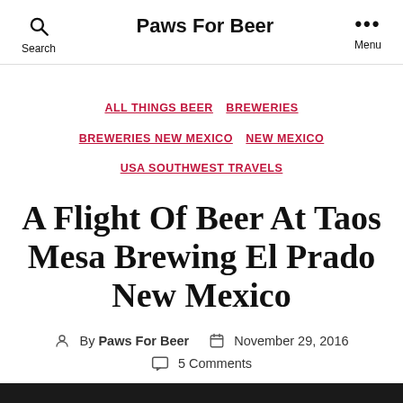Paws For Beer
ALL THINGS BEER  BREWERIES  BREWERIES NEW MEXICO  NEW MEXICO  USA SOUTHWEST TRAVELS
A Flight Of Beer At Taos Mesa Brewing El Prado New Mexico
By Paws For Beer  November 29, 2016  5 Comments